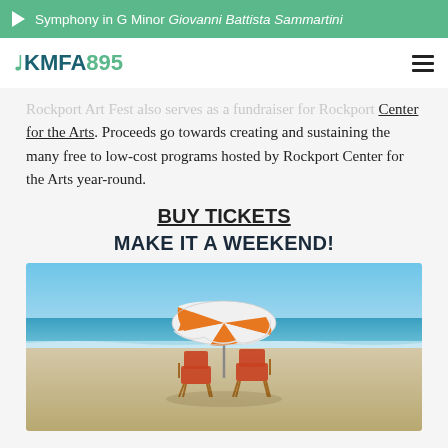▶ Symphony in G Minor Giovanni Battista Sammartini
KMFA895
Rockport Art Fest also serves as a fundraiser for Rockport Center for the Arts. Proceeds go towards creating and sustaining the many free to low-cost programs hosted by Rockport Center for the Arts year-round.
BUY TICKETS
MAKE IT A WEEKEND!
[Figure (photo): Two beach chairs and an orange and white striped umbrella on a sandy beach with ocean and blue sky in the background.]